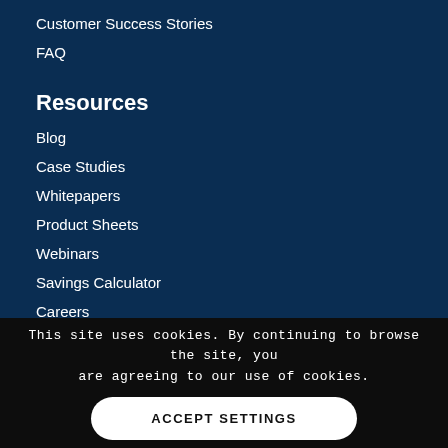Customer Success Stories
FAQ
Resources
Blog
Case Studies
Whitepapers
Product Sheets
Webinars
Savings Calculator
Careers
Press
This site uses cookies. By continuing to browse the site, you are agreeing to our use of cookies.
ACCEPT SETTINGS